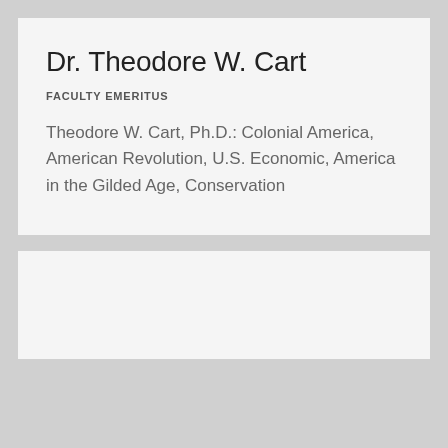Dr. Theodore W. Cart
FACULTY EMERITUS
Theodore W. Cart, Ph.D.: Colonial America, American Revolution, U.S. Economic, America in the Gilded Age, Conservation